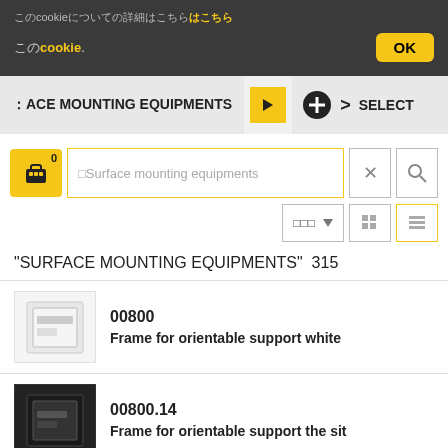このcookieについての詳細はこちら
このcookie.
OK
FACE MOUNTING EQUIPMENTS
SELECT
0
Surface mounting equipments
"SURFACE MOUNTING EQUIPMENTS"  315
00800
Frame for orientable support white
00800.14
Frame for orientable support the sit...